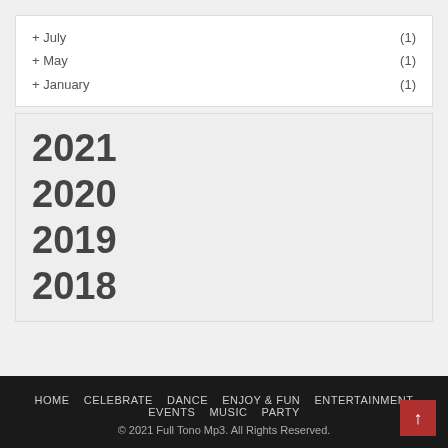+ July (1)
+ May (1)
+ January (1)
2021
2020
2019
2018
HOME  CELEBRATE  DANCE  ENJOY & FUN  ENTERTAINMENT  EVENTS  MUSIC  PARTY
© 2021 Full Tono Mp3. All Rights Reserved.